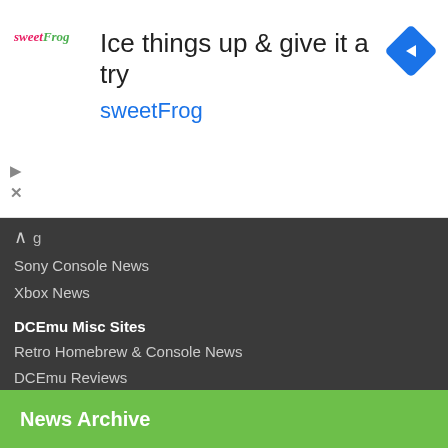[Figure (screenshot): sweetFrog advertisement banner with logo, headline 'Ice things up & give it a try', brand name 'sweetFrog', and navigation arrow icon]
Sony Console News
Xbox News
DCEmu Misc Sites
Retro Homebrew & Console News
DCEmu Reviews
Wraggys Beers Wines & Spirits Reviews
DCEmu Theme Park News
Gamer Wraggy 210
DCEmu Homebrew Coder Sites
Chui Dreamcast Developer
News Archive
Today
Ad ultimatetruckingjо...
Background Check
Ad Checkr Official
[Figure (photo): Person in red/pink cloak holding a book against blue background]
[Figure (screenshot): How to Find Influencers document/guide page]
Get Enlightened with Dante
Ad Hillsdale College
Find The Best Fit Influencers
Ad GRIN